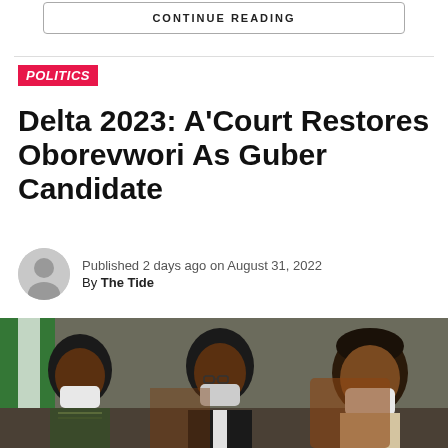CONTINUE READING
POLITICS
Delta 2023: A'Court Restores Oborevwori As Guber Candidate
Published 2 days ago on August 31, 2022
By The Tide
[Figure (photo): Three men in face masks seated at a table during a formal meeting, with a Nigerian flag partially visible in the background. The men are wearing traditional and formal attire.]